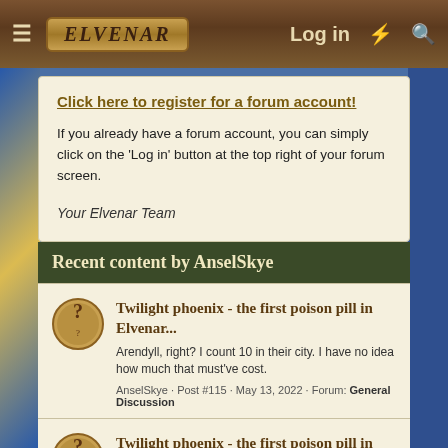Elvenar — Log in
Click here to register for a forum account!
If you already have a forum account, you can simply click on the 'Log in' button at the top right of your forum screen.
Your Elvenar Team
Recent content by AnselSkye
Twilight phoenix - the first poison pill in Elvenar...
Arendyll, right? I count 10 in their city. I have no idea how much that must've cost.
AnselSkye · Post #115 · May 13, 2022 · Forum: General Discussion
Twilight phoenix - the first poison pill in Elvenar...